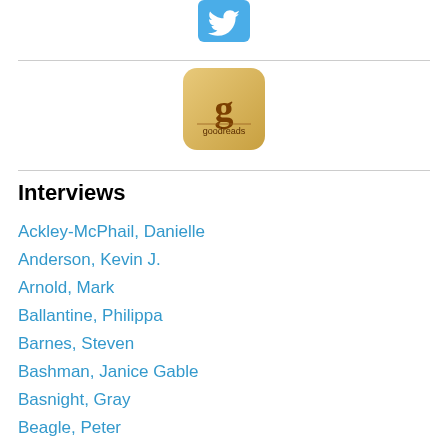[Figure (logo): Twitter bird logo icon, blue background with white bird]
[Figure (logo): Goodreads app icon, gold/tan background with stylized letter g and goodreads text]
Interviews
Ackley-McPhail, Danielle
Anderson, Kevin J.
Arnold, Mark
Ballantine, Philippa
Barnes, Steven
Bashman, Janice Gable
Basnight, Gray
Beagle, Peter
Beck, Jerry
Bell, Darrin
Brayton, Stephen